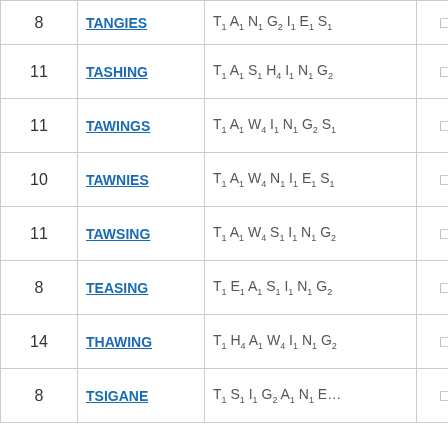| Score | Word | Letter Values |  |  |
| --- | --- | --- | --- | --- |
| 8 | TANGIES | T₁ A₁ N₁ G₂ I₁ E₁ S₁ | ☐ | ☐ |
| 11 | TASHING | T₁ A₁ S₁ H₄ I₁ N₁ G₂ | ☐ | ☐ |
| 11 | TAWINGS | T₁ A₁ W₄ I₁ N₁ G₂ S₁ | ☐ | ☐ |
| 10 | TAWNIES | T₁ A₁ W₄ N₁ I₁ E₁ S₁ | ☐ | ☐ |
| 11 | TAWSING | T₁ A₁ W₄ S₁ I₁ N₁ G₂ | ☐ | ☐ |
| 8 | TEASING | T₁ E₁ A₁ S₁ I₁ N₁ G₂ | ☐ | ☐ |
| 14 | THAWING | T₁ H₄ A₁ W₄ I₁ N₁ G₂ | ☐ | ☐ |
| 8 | TSIGANE | T₁ S₁ I₁ G₂ A₁ N₁ E₁ | ☐ | ☐ |